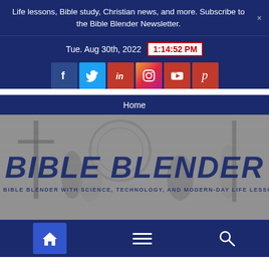Life lessons, Bible study, Christian news, and more. Subscribe to the Bible Blender Newsletter.
Tue. Aug 30th, 2022  1:14:52 PM
[Figure (screenshot): Social media icons: Facebook, Twitter, LinkedIn, Instagram, YouTube, Pinterest]
Home
[Figure (logo): Bible Blender website banner with engraving-style religious illustration in background and bold blue 'BIBLE BLENDER' text with tagline 'THE BIBLE BLENDER WITH SCIENCE, TECHNOLOGY, AND MODERN-DAY LIFE LESSONS']
[Figure (screenshot): Mobile bottom navigation bar with home icon (highlighted), hamburger menu icon, and search icon]